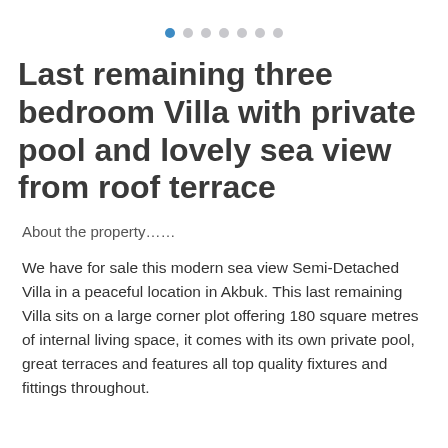[Figure (other): Pagination indicator dots: one filled blue dot followed by six grey dots]
Last remaining three bedroom Villa with private pool and lovely sea view from roof terrace
About the property……
We have for sale this modern sea view Semi-Detached Villa in a peaceful location in Akbuk. This last remaining Villa sits on a large corner plot offering 180 square metres of internal living space, it comes with its own private pool, great terraces and features all top quality fixtures and fittings throughout.